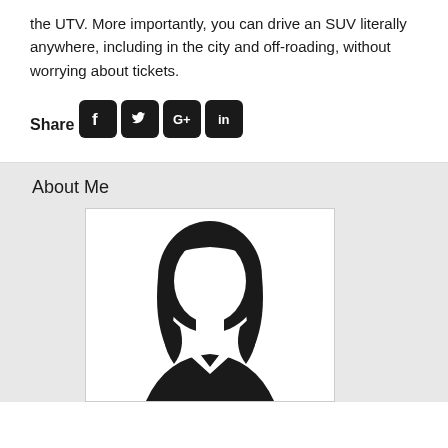the UTV. More importantly, you can drive an SUV literally anywhere, including in the city and off-roading, without worrying about tickets.
Share
[Figure (infographic): Social media share icons: Facebook, Twitter, Google+, LinkedIn — black rounded square icons]
About Me
[Figure (photo): Generic female silhouette avatar placeholder image — black and white illustration of a woman with short hair]